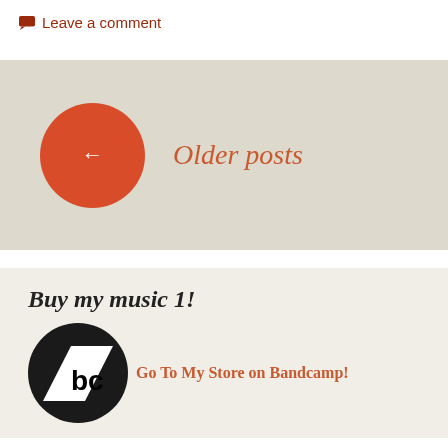Leave a comment
[Figure (illustration): Red circle button with left arrow indicating older posts navigation, with italic red text 'Older posts' beside it on a beige background]
Buy my music 1!
[Figure (logo): Bandcamp logo: black circle with white 'bc' text and slanted flag/arrow shape]
Go To My Store on Bandcamp!
Follow me on Spotify